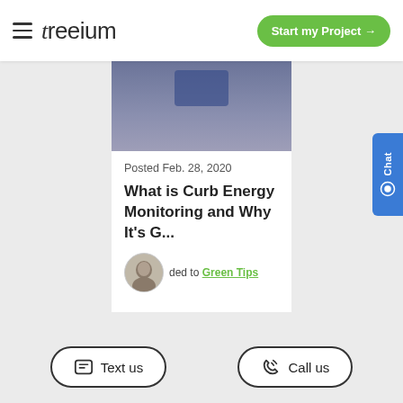treeium — Start my Project →
[Figure (screenshot): Partial top of a blog post card showing a dark blue/grey gradient header image, partially cropped]
Posted Feb. 28, 2020
What is Curb Energy Monitoring and Why It's G...
ded to Green Tips
Text us
Call us